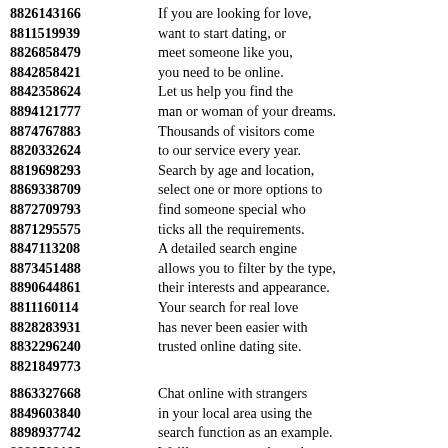8826143166  If you are looking for love,
8811519939  want to start dating, or
8826858479  meet someone like you,
8842858421  you need to be online.
8842358624  Let us help you find the
8894121777  man or woman of your dreams.
8874767883  Thousands of visitors come
8820332624  to our service every year.
8819698293  Search by age and location,
8869338709  select one or more options to
8872709793  find someone special who
8871295575  ticks all the requirements.
8847113208  A detailed search engine
8873451488  allows you to filter by the type,
8890644861  their interests and appearance.
8811160114  Your search for real love
8828283931  has never been easier with
8832296240  trusted online dating site.
8821849773
8863327668  Chat online with strangers
8849603840  in your local area using the
8898937742  search function as an example.
8888508106  We’ll support you through
8881613219  every step of your journey
8832599113  to help you find your match.